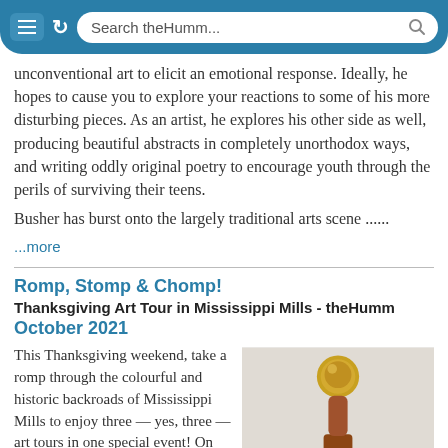Search theHumm...
unconventional art to elicit an emotional response. Ideally, he hopes to cause you to explore your reactions to some of his more disturbing pieces. As an artist, he explores his other side as well, producing beautiful abstracts in completely unorthodox ways, and writing oddly original poetry to encourage youth through the perils of surviving their teens.

Busher has burst onto the largely traditional arts scene ......
...more
Romp, Stomp & Chomp!
Thanksgiving Art Tour in Mississippi Mills - theHumm
October 2021
This Thanksgiving weekend, take a romp through the colourful and historic backroads of Mississippi Mills to enjoy three — yes, three — art tours in one special event! On October 9 and 10 th...
[Figure (photo): A decorative golden and reddish-brown sculptural object, possibly a trophy or art piece, photographed against a light gray background.]